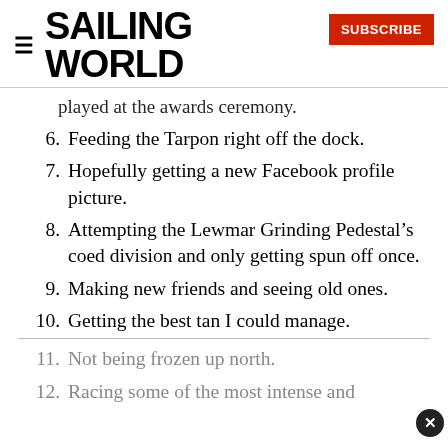SAILING WORLD — SUBSCRIBE
played at the awards ceremony.
6. Feeding the Tarpon right off the dock.
7. Hopefully getting a new Facebook profile picture.
8. Attempting the Lewmar Grinding Pedestal's coed division and only getting spun off once.
9. Making new friends and seeing old ones.
10. Getting the best tan I could manage.
11. Not being frozen up north.
12. Racing some of the most intense and